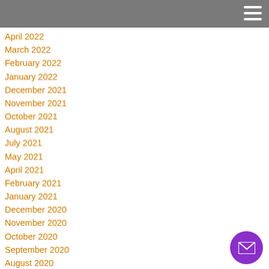April 2022
March 2022
February 2022
January 2022
December 2021
November 2021
October 2021
August 2021
July 2021
May 2021
April 2021
February 2021
January 2021
December 2020
November 2020
October 2020
September 2020
August 2020
July 2020
June 2020
May 2020
April 2020
March 2020
February 2020
January 2020
December 2019